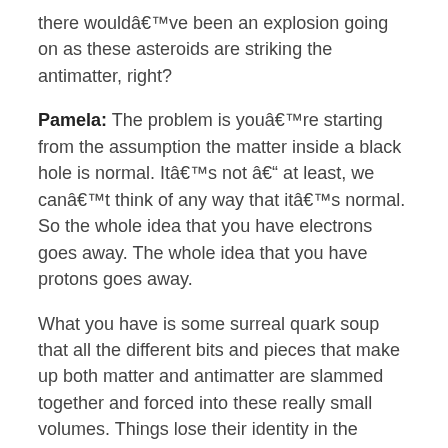there would've been an explosion going on as these asteroids are striking the antimatter, right?
Pamela: The problem is you're starting from the assumption the matter inside a black hole is normal. It's not – at least, we can't think of any way that it's normal. So the whole idea that you have electrons goes away. The whole idea that you have protons goes away.
What you have is some surreal quark soup that all the different bits and pieces that make up both matter and antimatter are slammed together and forced into these really small volumes. Things lose their identity in the process.
Fraser: We'll get that question in a second – we've actually got another question on that identity and information. I guess my question – sorry to not let go here – let's imagine you had